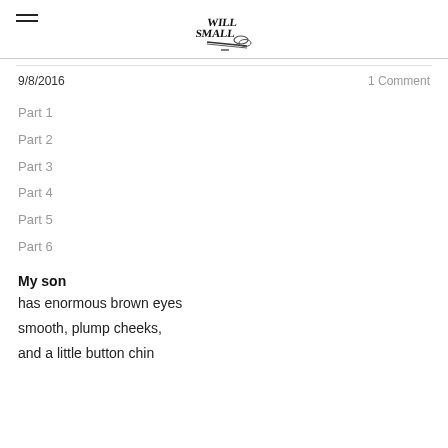WILL SMALL [logo]
9/8/2016
1 Comment
Part 1
Part 2
Part 3
Part 4
Part 5
Part 6
My son
has enormous brown eyes
smooth, plump cheeks,
and a little button chin